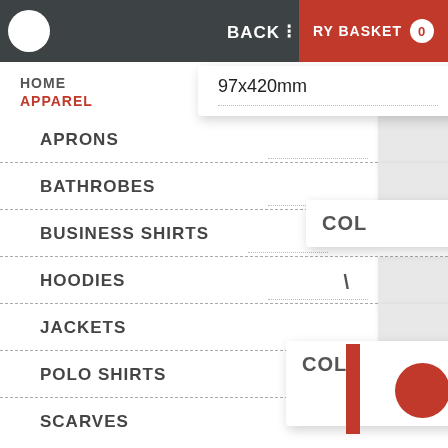BACK | RY BASKET 0
HOME
APPAREL
97x420mm
APRONS
BATHROBES
BUSINESS SHIRTS
COL
HOODIES
JACKETS
POLO SHIRTS
COL
SCARVES